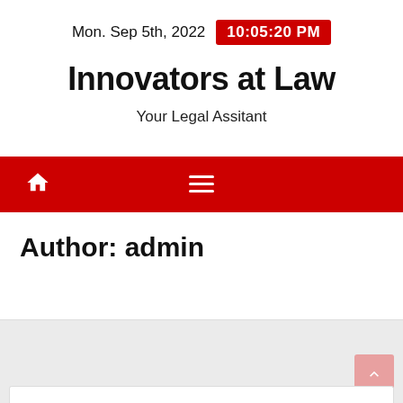Mon. Sep 5th, 2022  10:05:20 PM
Innovators at Law
Your Legal Assitant
[Figure (other): Red navigation bar with home icon on left and hamburger menu icon in center]
Author: admin